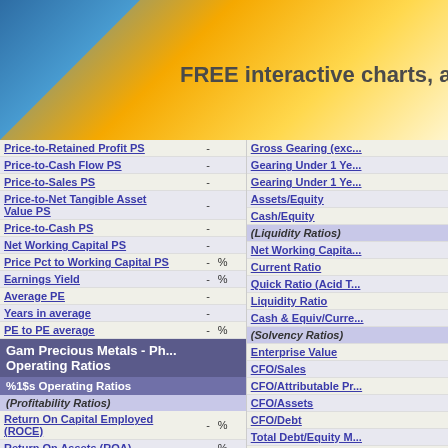FREE interactive charts, analy...
| Metric | Value | Unit |
| --- | --- | --- |
| Price-to-Retained Profit PS | - |  |
| Price-to-Cash Flow PS | - |  |
| Price-to-Sales PS | - |  |
| Price-to-Net Tangible Asset Value PS | - |  |
| Price-to-Cash PS | - |  |
| Net Working Capital PS | - |  |
| Price Pct to Working Capital PS | - | % |
| Earnings Yield | - | % |
| Average PE | - |  |
| Years in average | - |  |
| PE to PE average | - | % |
Gam Precious Metals - Ph... Operating Ratios
%1$s Operating Ratios
(Profitability Ratios)
| Metric | Value | Unit |
| --- | --- | --- |
| Return On Capital Employed (ROCE) | - | % |
| Return On Assets (ROA) | - | % |
| Net Profit Margin | - | % |
| Assets Turnover | - |  |
| Return On Equity (ROE) | - | % |
| Return On Investment (ROI) | - | % |
| Dividend Payout Ratio | - | % |
| Right Metric |
| --- |
| Gross Gearing (exc... |
| Gearing Under 1 Ye... |
| Gearing Under 1 Ye... |
| Assets/Equity |
| Cash/Equity |
| (Liquidity Ratios) |
| Net Working Capita... |
| Current Ratio |
| Quick Ratio (Acid T... |
| Liquidity Ratio |
| Cash & Equiv/Curre... |
| (Solvency Ratios) |
| Enterprise Value |
| CFO/Sales |
| CFO/Attributable Pr... |
| CFO/Assets |
| CFO/Debt |
| Total Debt/Equity M... |
| Total Debt/Sales |
| Total Debt/Pre-Tax ... |
| Total Debt |
| Total Debt/Net Cu... |